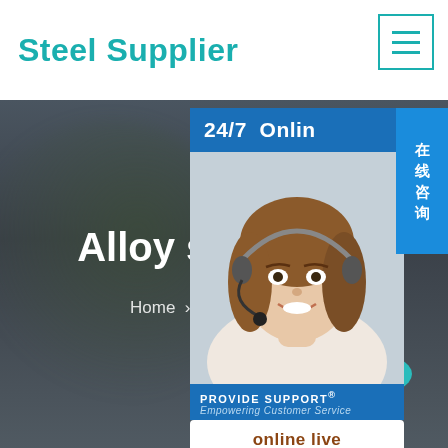Steel Supplier
[Figure (screenshot): Hamburger menu icon with three horizontal teal lines in a bordered box]
[Figure (photo): Live chat widget showing 24/7 Online service with a smiling woman wearing a headset, PROVIDE SUPPORT Empowering Customer Service branding, online live button, and Chinese text 在线咨询 (Online Consultation) on the right side]
Alloy steel plate
Home > Alloy steel plate
[Figure (other): Teal oval scroll-to-top button with upward arrow]